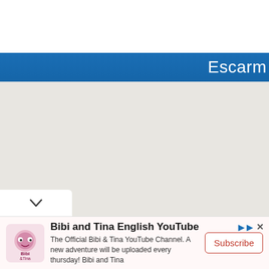[Figure (screenshot): White header area at top of web/app page]
Escarm
[Figure (map): Light grey map area showing a geographic region, with a white chevron/dropdown button in the bottom-left corner]
[Figure (other): Advertisement banner for Bibi and Tina English YouTube channel with logo, text, and Subscribe button]